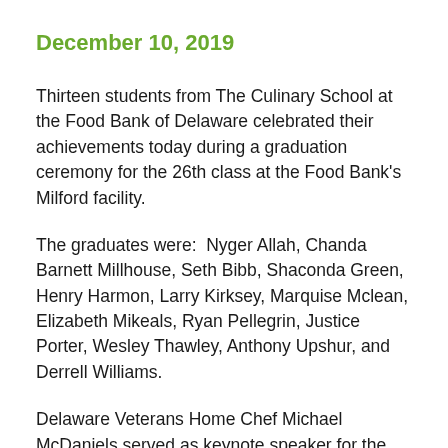December 10, 2019
Thirteen students from The Culinary School at the Food Bank of Delaware celebrated their achievements today during a graduation ceremony for the 26th class at the Food Bank's Milford facility.
The graduates were:  Nyger Allah, Chanda Barnett Millhouse, Seth Bibb, Shaconda Green, Henry Harmon, Larry Kirksey, Marquise Mclean, Elizabeth Mikeals, Ryan Pellegrin, Justice Porter, Wesley Thawley, Anthony Upshur, and Derrell Williams.
Delaware Veterans Home Chef Michael McDaniels served as keynote speaker for the event.
“It’s a special type of person that goes into the food service industry. It takes hard work, dedication and